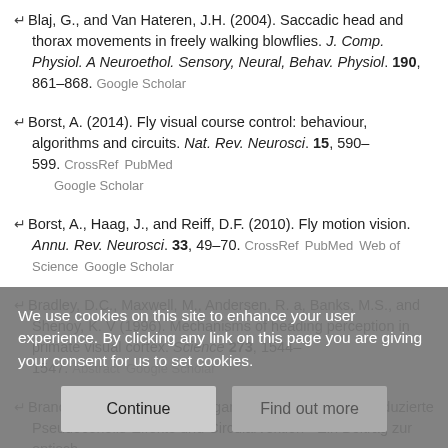Blaj, G., and Van Hateren, J.H. (2004). Saccadic head and thorax movements in freely walking blowflies. J. Comp. Physiol. A Neuroethol. Sensory, Neural, Behav. Physiol. 190, 861–868. Google Scholar
Borst, A. (2014). Fly visual course control: behaviour, algorithms and circuits. Nat. Rev. Neurosci. 15, 590–599. CrossRef PubMed Google Scholar
Borst, A., Haag, J., and Reiff, D.F. (2010). Fly motion vision. Annu. Rev. Neurosci. 33, 49–70. CrossRef PubMed Web of Science Google Scholar
Bradley, D.C., Maxwell, M., Andersen, R. a, Banks, M.S., and Shenoy, K. V (1996). Mechanisms of heading perception in primate visual cortex. Science 273, 1544–1547. Abstract Google Scholar
Brandt, T., Wist, E., and Dichgans, J. (1971). Optisch induzierte Pseudocoriolis-Effekte und Circularvektion - Ein Beitrag zur optisch-
We use cookies on this site to enhance your user experience. By clicking any link on this page you are giving your consent for us to set cookies.